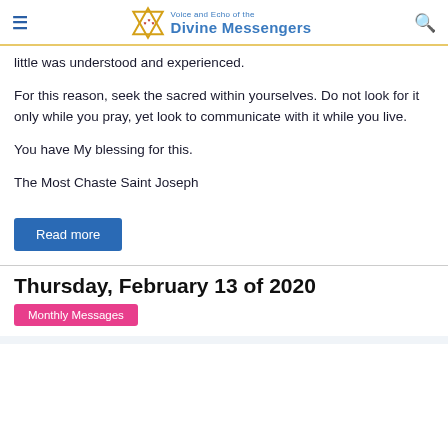Voice and Echo of the Divine Messengers
little was understood and experienced.
For this reason, seek the sacred within yourselves. Do not look for it only while you pray, yet look to communicate with it while you live.
You have My blessing for this.
The Most Chaste Saint Joseph
Read more
Thursday, February 13 of 2020
Monthly Messages